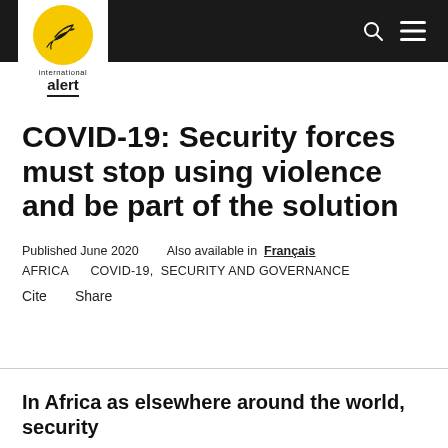International Alert – navigation bar with search and menu icons
[Figure (logo): International Alert logo: yellow circle with white dove, text 'international' and bold underlined 'alert']
COVID-19: Security forces must stop using violence and be part of the solution
Published June 2020    Also available in  Français
AFRICA    COVID-19,  SECURITY AND GOVERNANCE
Cite    Share
In Africa as elsewhere around the world, security